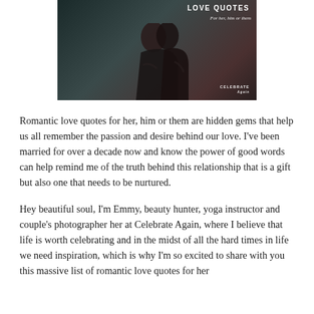[Figure (photo): Dark romantic photo of a couple kissing, with text overlay reading 'LOVE QUOTES For her, him or them' and a 'CELEBRATE Again' watermark in the bottom right corner.]
Romantic love quotes for her, him or them are hidden gems that help us all remember the passion and desire behind our love. I've been married for over a decade now and know the power of good words can help remind me of the truth behind this relationship that is a gift but also one that needs to be nurtured.
Hey beautiful soul, I'm Emmy, beauty hunter, yoga instructor and couple's photographer her at Celebrate Again, where I believe that life is worth celebrating and in the midst of all the hard times in life we need inspiration, which is why I'm so excited to share with you this massive list of romantic love quotes for her...